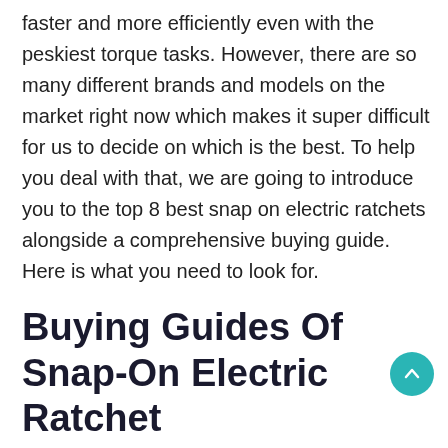faster and more efficiently even with the peskiest torque tasks. However, there are so many different brands and models on the market right now which makes it super difficult for us to decide on which is the best. To help you deal with that, we are going to introduce you to the top 8 best snap on electric ratchets alongside a comprehensive buying guide. Here is what you need to look for.
Buying Guides Of Snap-On Electric Ratchet
Weight and Length: A snap-on ratchet is normally hand-held. Thus, it needs to be lightweight, compact as well as slim in terms of design for easy handling and maneuvering. Like mentioned previously, some nuts and bolts are hard to unscrew manually. It needs to be ergonomically designed to handle and comfort the user. Now all it can sustain and 12...